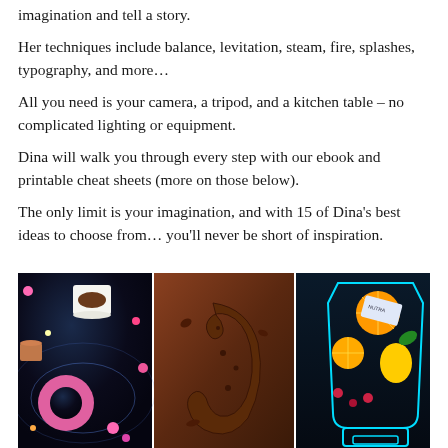imagination and tell a story.
Her techniques include balance, levitation, steam, fire, splashes, typography, and more…
All you need is your camera, a tripod, and a kitchen table – no complicated lighting or equipment.
Dina will walk you through every step with our ebook and printable cheat sheets (more on those below).
The only limit is your imagination, and with 15 of Dina's best ideas to choose from… you'll never be short of inspiration.
[Figure (photo): Three food photography example images side by side: left panel shows a galaxy/space-themed flat lay with a donut, coffee cup, and colorful scattered dots on dark background; middle panel shows a letter or shape formed from chocolate/spices on a warm brown background; right panel shows a neon-outlined blender filled with fruits like oranges, mango, and berries on a dark background.]